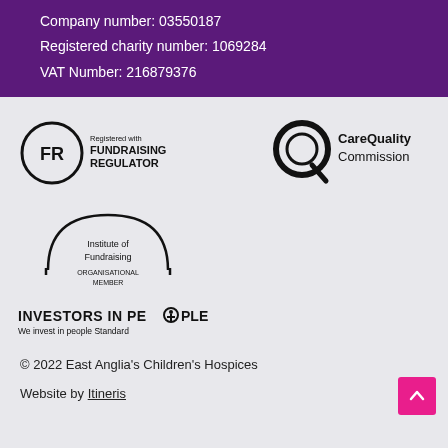Company number: 03550187
Registered charity number: 1069284
VAT Number: 216879376
[Figure (logo): Fundraising Regulator logo — FR in circle with 'Registered with FUNDRAISING REGULATOR' text]
[Figure (logo): Care Quality Commission logo — Q icon with 'CareQuality Commission' text]
[Figure (logo): Institute of Fundraising Organisational Member logo — arch with text]
[Figure (logo): Investors in People logo — 'INVESTORS IN PEOPLE We invest in people Standard']
© 2022 East Anglia's Children's Hospices
Website by Itineris